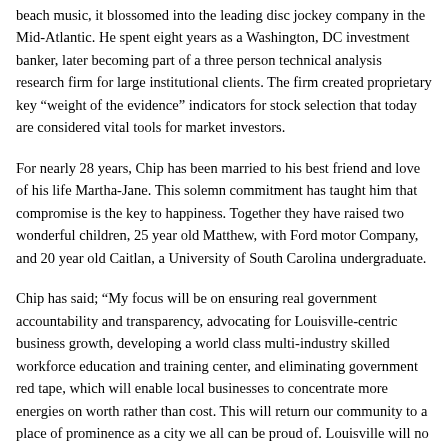beach music, it blossomed into the leading disc jockey company in the Mid-Atlantic. He spent eight years as a Washington, DC investment banker, later becoming part of a three person technical analysis research firm for large institutional clients. The firm created proprietary key “weight of the evidence” indicators for stock selection that today are considered vital tools for market investors.
For nearly 28 years, Chip has been married to his best friend and love of his life Martha-Jane. This solemn commitment has taught him that compromise is the key to happiness. Together they have raised two wonderful children, 25 year old Matthew, with Ford motor Company, and 20 year old Caitlan, a University of South Carolina undergraduate.
Chip has said; “My focus will be on ensuring real government accountability and transparency, advocating for Louisville-centric business growth, developing a world class multi-industry skilled workforce education and training center, and eliminating government red tape, which will enable local businesses to concentrate more energies on worth rather than cost. This will return our community to a place of prominence as a city we all can be proud of. Louisville will no longer